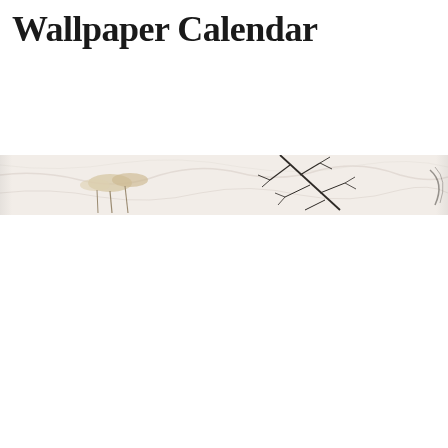Wallpaper Calendar
[Figure (photo): A horizontal banner image showing a styled flat-lay with dried botanical/floral elements (pampas grass, pine branches) on a white marble or light textured surface. The image is cropped as a narrow horizontal strip spanning the full page width.]